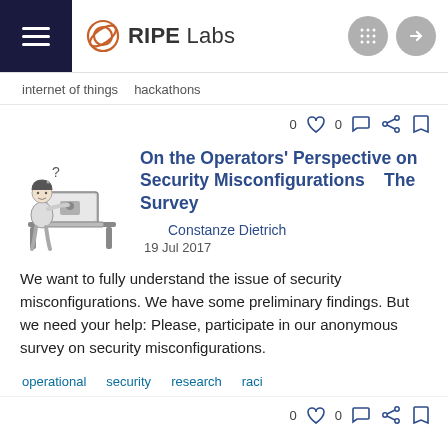RIPE Labs
internet of things
hackathons
On the Operators' Perspective on Security Misconfigurations    The Survey
Constanze Dietrich
19 Jul 2017
We want to fully understand the issue of security misconfigurations. We have some preliminary findings. But we need your help: Please, participate in our anonymous survey on security misconfigurations.
operational
security
research
raci